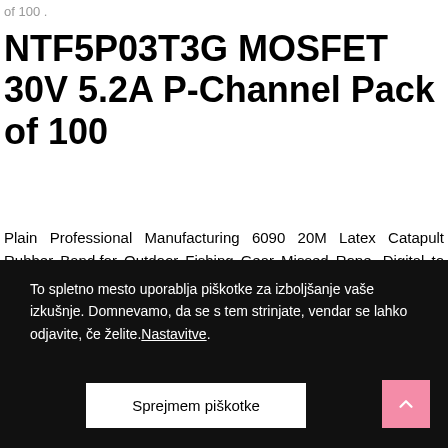of 100 .
NTF5P03T3G MOSFET 30V 5.2A P-Channel Pack of 100
Plain Professional Manufacturing 6090 20M Latex Catapult Rubber Band,for Outdoor Fishing Gear Missed Rope, Digital to Analog Converters DAC DUAL 12 BIT IC w/ Parallel Load, NTF5P03T3G MOSFET 30V 5.2A P-Channel Pack of 100
To spletno mesto uporablja piškotke za izboljšanje vaše izkušnje. Domnevamo, da se s tem strinjate, vendar se lahko odjavite, če želite.Nastavitve.
Sprejmem piškotke